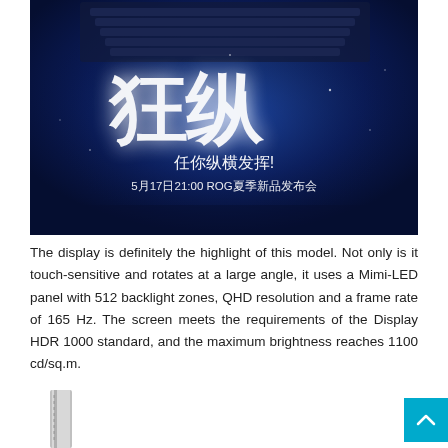[Figure (photo): Dark blue promotional image with large stylized Chinese characters (狂纵) in white brushstroke style, text '任你纵横发挥!' and '5月17日21:00 ROG夏季新品发布会' below, showing a laptop keyboard in the background.]
The display is definitely the highlight of this model. Not only is it touch-sensitive and rotates at a large angle, it uses a Mimi-LED panel with 512 backlight zones, QHD resolution and a frame rate of 165 Hz. The screen meets the requirements of the Display HDR 1000 standard, and the maximum brightness reaches 1100 cd/sq.m.
[Figure (photo): Partial view of a thin vertical device (laptop or tablet edge) on white background, only the left edge visible.]